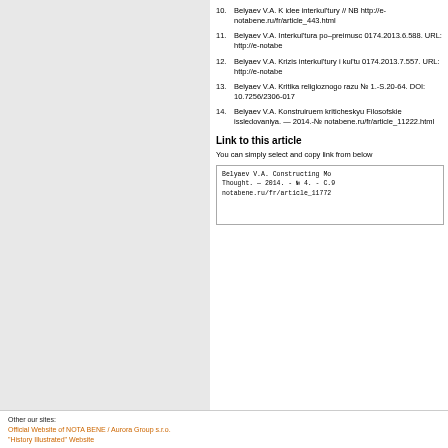10. Belyaev V.A. K idee interkul'tury // NB http://e-notabene.ru/fr/article_443.html
11. Belyaev V.A. Interkul'tura po–preimusc 0174.2013.6.588. URL: http://e-notabe
12. Belyaev V.A. Krizis interkul'tury i kul'tu 0174.2013.7.557. URL: http://e-notabe
13. Belyaev V.A. Kritika religioznogo razu № 1.-S.20-64. DOI: 10.7256/2306-017
14. Belyaev V.A. Konstruiruem kriticheskyu Filosofskie issledovaniya. — 2014.-№ notabene.ru/fr/article_11222.html
Link to this article
You can simply select and copy link from below
Belyaev V.A. Constructing Mo Thought. — 2014. - № 4. - C.9 notabene.ru/fr/article_11772
Other our sites:
Official Website of NOTA BENE / Aurora Group s.r.o. "History Illustrated" Website